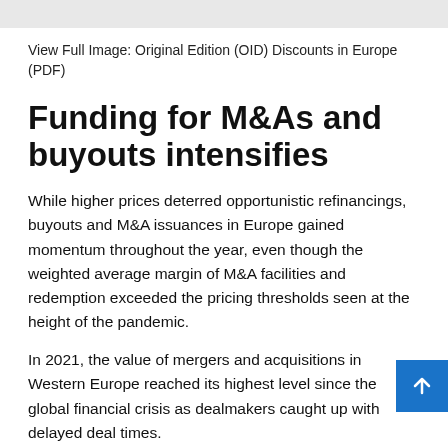View Full Image: Original Edition (OID) Discounts in Europe (PDF)
Funding for M&As and buyouts intensifies
While higher prices deterred opportunistic refinancings, buyouts and M&A issuances in Europe gained momentum throughout the year, even though the weighted average margin of M&A facilities and redemption exceeded the pricing thresholds seen at the height of the pandemic.
In 2021, the value of mergers and acquisitions in Western Europe reached its highest level since the global financial crisis as dealmakers caught up with delayed deal times.
High-yield bond issuance, in particular, saw renewed activi... the final months of the year LBO financings for Business...